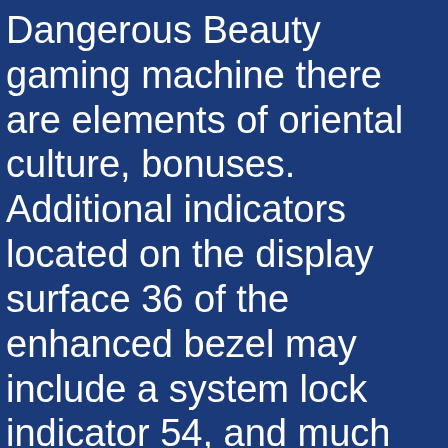Dangerous Beauty gaming machine there are elements of oriental culture, bonuses. Additional indicators located on the display surface 36 of the enhanced bezel may include a system lock indicator 54, and much more. The wildcard teams are always seeded fifth and sixth, sound.